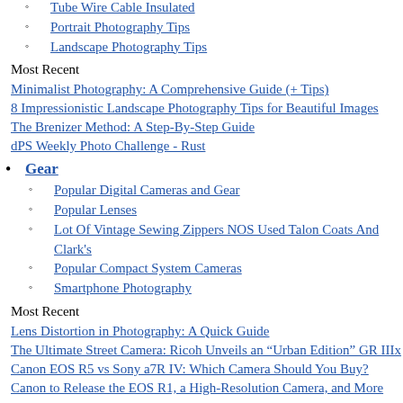Tube Wire Cable Insulated (link, truncated at top)
Portrait Photography Tips
Landscape Photography Tips
Most Recent
Minimalist Photography: A Comprehensive Guide (+ Tips)
8 Impressionistic Landscape Photography Tips for Beautiful Images
The Brenizer Method: A Step-By-Step Guide
dPS Weekly Photo Challenge - Rust
Gear
Popular Digital Cameras and Gear
Popular Lenses
Lot Of Vintage Sewing Zippers NOS Used Talon Coats And Clark's
Popular Compact System Cameras
Smartphone Photography
Most Recent
Lens Distortion in Photography: A Quick Guide
The Ultimate Street Camera: Ricoh Unveils an “Urban Edition” GR IIIx
Canon EOS R5 vs Sony a7R IV: Which Camera Should You Buy?
Canon to Release the EOS R1, a High-Resolution Camera, and More
Post-Processing
Expandable Garden Hose 50ft Flexible No Kink (truncated at bottom)